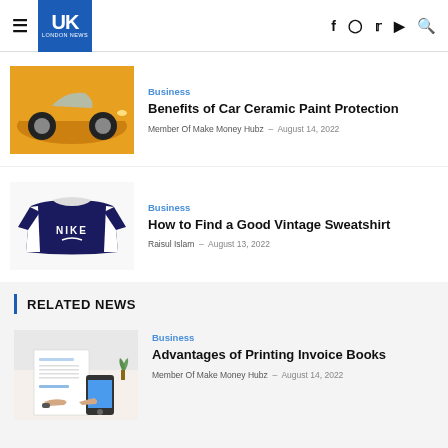UK London News
Business | Benefits of Car Ceramic Paint Protection | Member Of Make Money Hubz - August 14, 2022
Business | How to Find a Good Vintage Sweatshirt | Raisul Islam - August 13, 2022
RELATED NEWS
Business | Advantages of Printing Invoice Books | Member Of Make Money Hubz - August 14, 2022